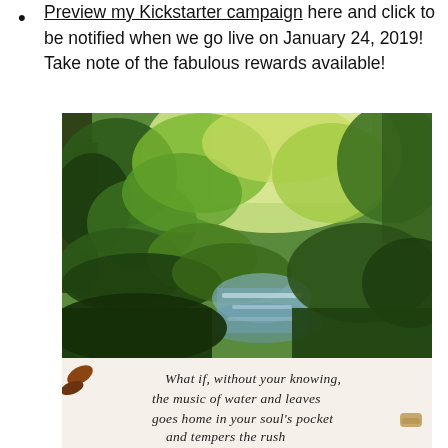Preview my Kickstarter campaign here and click to be notified when we go live on January 24, 2019! Take note of the fabulous rewards available!
[Figure (illustration): An impressionistic painting of a lush green landscape with a water channel or canal reflecting light, surrounded by dense green foliage and trees. Below the painting is a handwritten poem that reads: 'What if, without your knowing, the music of water and leaves goes home in your soul's pocket and tempers the rush...' with small decorative objects (leaves, cork) at the edges.]